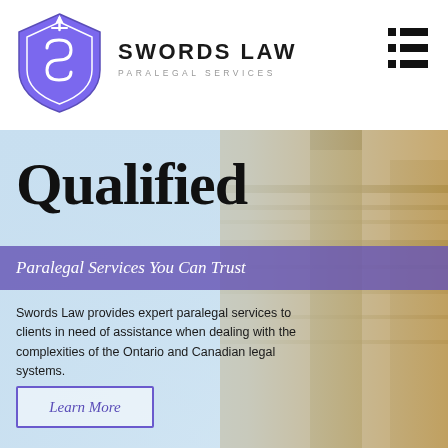[Figure (logo): Swords Law shield logo with sword, purple geometric design]
SWORDS LAW
PARALEGAL SERVICES
[Figure (illustration): Hamburger/list menu icon, three rows of black rectangles]
[Figure (photo): Background photo of classical stone columns building exterior with blue sky]
Qualified
Paralegal Services You Can Trust
Swords Law provides expert paralegal services to clients in need of assistance when dealing with the complexities of the Ontario and Canadian legal systems.
Learn More